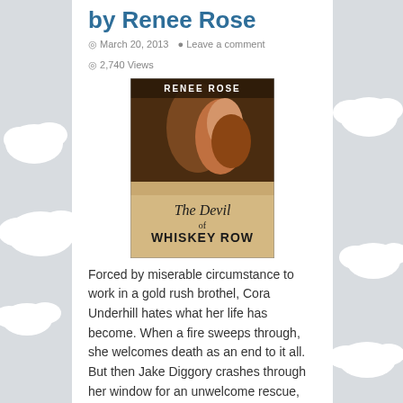by Renee Rose
March 20, 2013   Leave a comment   2,740 Views
[Figure (illustration): Book cover for 'The Devil of Whiskey Row' by Renee Rose, showing a man and woman in an embrace with western/historical styling.]
Forced by miserable circumstance to work in a gold rush brothel, Cora Underhill hates what her life has become. When a fire sweeps through, she welcomes death as an end to it all. But then Jake Diggory crashes through her window for an unwelcome rescue, offering her shelter and a paid position at his establishment. She accepts, in spite of ...
Read More »